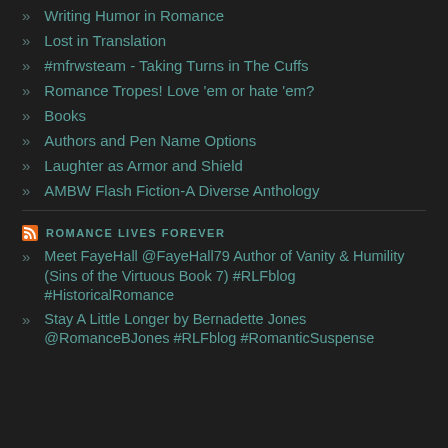Writing Humor in Romance
Lost in Translation
#mfrwsteam - Taking Turns in The Cuffs
Romance Tropes! Love 'em or hate 'em?
Books
Authors and Pen Name Options
Laughter as Armor and Shield
AMBW Flash Fiction-A Diverse Anthology
ROMANCE LIVES FOREVER
Meet FayeHall @FayeHall79 Author of Vanity & Humility (Sins of the Virtuous Book 7) #RLFblog #HistoricalRomance
Stay A Little Longer by Bernadette Jones @RomanceBJones #RLFblog #RomanticSuspense